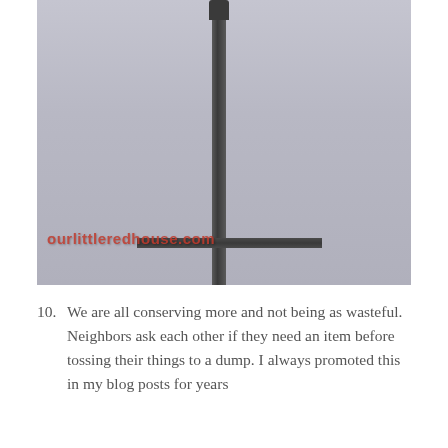[Figure (photo): A tall utility or cell tower pole photographed against a gray overcast sky. The pole has a crossbar or horizontal arm near the bottom portion. A watermark reading 'ourlittleredhouse.com' appears in red text at the lower left of the image.]
10. We are all conserving more and not being as wasteful. Neighbors ask each other if they need an item before tossing their things to a dump. I always promoted this in my blog posts for years